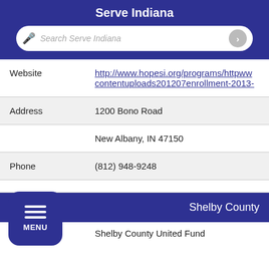Serve Indiana
[Figure (screenshot): Search bar with microphone icon and arrow button, placeholder text 'Search Serve Indiana']
| Website | http://www.hopesi.org/programs/httpwww contentuploads201207enrollment-2013- |
| Address | 1200 Bono Road |
|  | New Albany, IN 47150 |
| Phone | (812) 948-9248 |
|  |  |
|  | Shelby County |
| Organization | Shelby County United Fund |
[Figure (screenshot): Blue MENU button with three horizontal lines and MENU label]